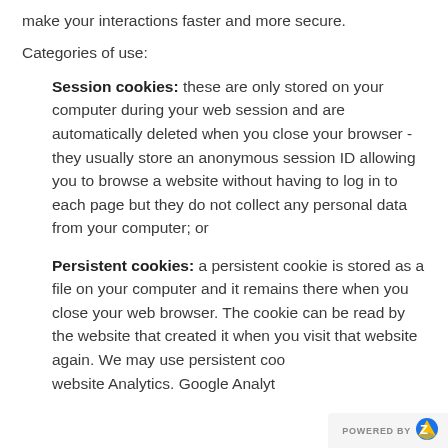make your interactions faster and more secure.
Categories of use:
Session cookies: these are only stored on your computer during your web session and are automatically deleted when you close your browser - they usually store an anonymous session ID allowing you to browse a website without having to log in to each page but they do not collect any personal data from your computer; or
Persistent cookies: a persistent cookie is stored as a file on your computer and it remains there when you close your web browser. The cookie can be read by the website that created it when you visit that website again. We may use persistent cookies for this website Analytics. Google Analyt
POWERED BY